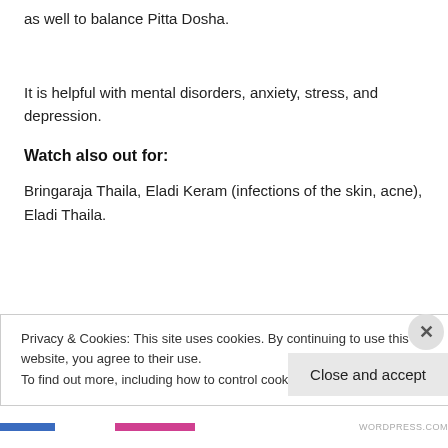as well to balance Pitta Dosha.
It is helpful with mental disorders, anxiety, stress, and depression.
Watch also out for:
Bringaraja Thaila, Eladi Keram (infections of the skin, acne), Eladi Thaila.
Privacy & Cookies: This site uses cookies. By continuing to use this website, you agree to their use.
To find out more, including how to control cookies, see here: Cookie Policy
Close and accept